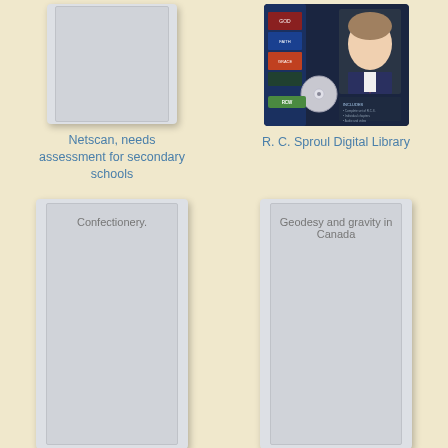[Figure (illustration): Book cover placeholder - gray card with inner border for Netscan]
Netscan, needs assessment for secondary schools
[Figure (photo): R. C. Sproul Digital Library book/DVD cover with photo of man in suit]
R. C. Sproul Digital Library
[Figure (illustration): Book cover placeholder - gray card with inner border showing text Confectionery.]
Confectionery.
[Figure (illustration): Book cover placeholder - gray card with inner border showing text Geodesy and gravity in Canada]
Geodesy and gravity in Canada
[Figure (illustration): Partial book cover at bottom left - blue cover]
[Figure (illustration): Partial book cover at bottom right - gray cover]